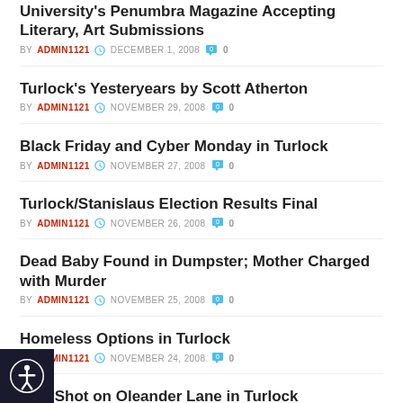University's Penumbra Magazine Accepting Literary, Art Submissions
BY ADMIN1121  DECEMBER 1, 2008  0
Turlock's Yesteryears by Scott Atherton
BY ADMIN1121  NOVEMBER 29, 2008  0
Black Friday and Cyber Monday in Turlock
BY ADMIN1121  NOVEMBER 27, 2008  0
Turlock/Stanislaus Election Results Final
BY ADMIN1121  NOVEMBER 26, 2008  0
Dead Baby Found in Dumpster; Mother Charged with Murder
BY ADMIN1121  NOVEMBER 25, 2008  0
Homeless Options in Turlock
BY ADMIN1121  NOVEMBER 24, 2008  0
Man Shot on Oleander Lane in Turlock
BY ADMIN1121  NOVEMBER 19, 2008  0